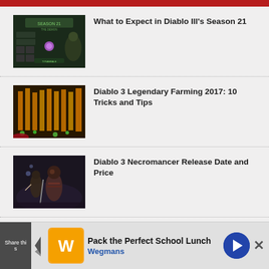[Figure (screenshot): Red header bar at top of webpage]
[Figure (screenshot): Diablo III Season 21 game screenshot showing season menu screen with green UI elements]
What to Expect in Diablo III's Season 21
[Figure (screenshot): Diablo 3 legendary item farming screenshot with golden glowing pillars]
Diablo 3 Legendary Farming 2017: 10 Tricks and Tips
[Figure (screenshot): Diablo 3 Necromancer character art showing armored figure with skull imagery]
Diablo 3 Necromancer Release Date and Price
[Figure (screenshot): Partial thumbnail for Diablo 3 Eternal article]
Diablo 3 Eternal
[Figure (other): Advertisement banner: Pack the Perfect School Lunch - Wegmans]
Share this